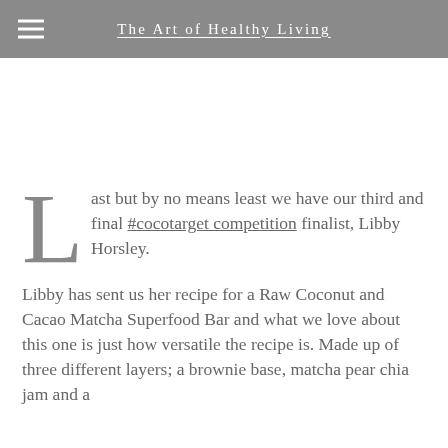The Art of Healthy Living
Last but by no means least we have our third and final #cocotarget competition finalist, Libby Horsley.
Libby has sent us her recipe for a Raw Coconut and Cacao Matcha Superfood Bar and what we love about this one is just how versatile the recipe is. Made up of three different layers; a brownie base, matcha pear chia jam and a